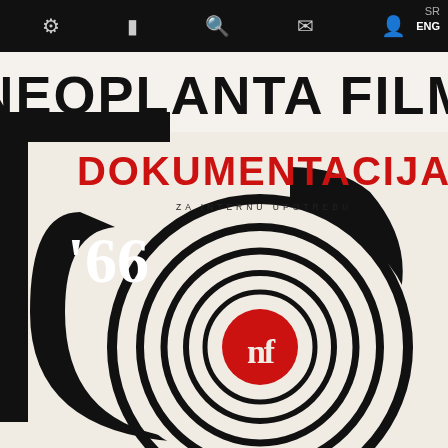Toolbar with icons: settings, tablet, search, mail, user; language: SR / ENG
[Figure (illustration): Neoplanta Film Dokumentacija '66 cover page. Shows 'NEOPLANTA FILM' in large black text at top on white background with black angular graphic shapes. Below in large red bold text: 'DOKUMENTACIJA'. Smaller text 'ZA INTERNU UPOTREBU'. Large '66 in white on black curved shape. Concentric circles in black and white forming a target/bullseye pattern with a red circular Neoplanta Film logo ('nf' monogram) at the center bottom.]